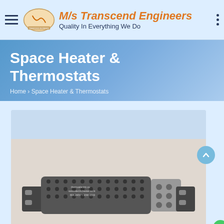M/s Transcend Engineers – Quality In Everything We Do
Space Heater & Thermostats
Home › Space Heater & Thermostats
[Figure (photo): A metallic space heater element with perforated cylindrical body and mounting flanges, shown on a light background. Label text visible on the body.]